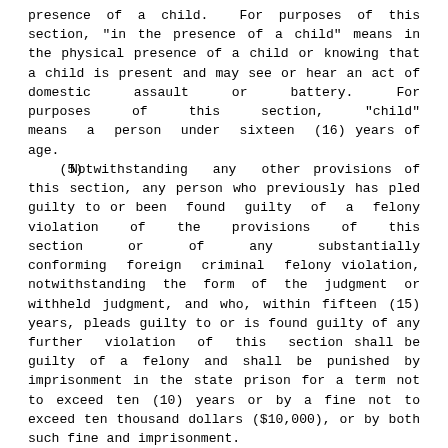presence of a child. For purposes of this section, "in the presence of a child" means in the physical presence of a child or knowing that a child is present and may see or hear an act of domestic assault or battery. For purposes of this section, "child" means a person under sixteen (16) years of age.
    (5)     Notwithstanding any other provisions of this section, any person who previously has pled guilty to or been found guilty of a felony violation of the provisions of this section or of any substantially conforming foreign criminal felony violation, notwithstanding the form of the judgment or withheld judgment, and who, within fifteen (15) years, pleads guilty to or is found guilty of any further violation of this section shall be guilty of a felony and shall be punished by imprisonment in the state prison for a term not to exceed ten (10) years or by a fine not to exceed ten thousand dollars ($10,000), or by both such fine and imprisonment.